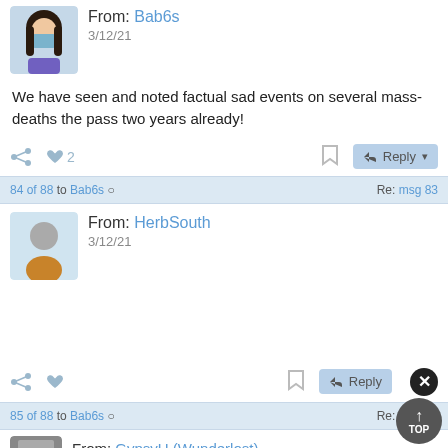[Figure (illustration): Profile avatar of a person wearing a blue mask, with dark hair]
From: Bab6s
3/12/21
We have seen and noted factual sad events on several mass-deaths the pass two years already!
♡ 2  Reply
84 of 88 to Bab6s ○  Re: msg 83
[Figure (illustration): Generic user avatar with grey head and orange/brown body on blue background]
From: HerbSouth
3/12/21
Reply
85 of 88 to Bab6s ○  Re: msg 83
[Figure (photo): Partial profile photo at bottom of page]
From: GypsyU (Wunderlost)